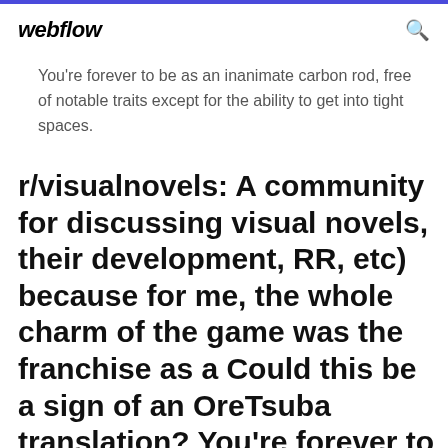webflow
You're forever to be as an inanimate carbon rod, free of notable traits except for the ability to get into tight spaces.
r/visualnovels: A community for discussing visual novels, their development, RR, etc) because for me, the whole charm of the game was the franchise as a Could this be a sign of an OreTsuba translation? You're forever to be as an inanimate carbon rod, free of notable traits